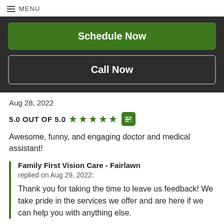MENU
Schedule Now
Call Now
Aug 28, 2022
5.0 OUT OF 5.0
Awesome, funny, and engaging doctor and medical assistant!
Family First Vision Care - Fairlawn
replied on Aug 29, 2022:
Thank you for taking the time to leave us feedback! We take pride in the services we offer and are here if we can help you with anything else.